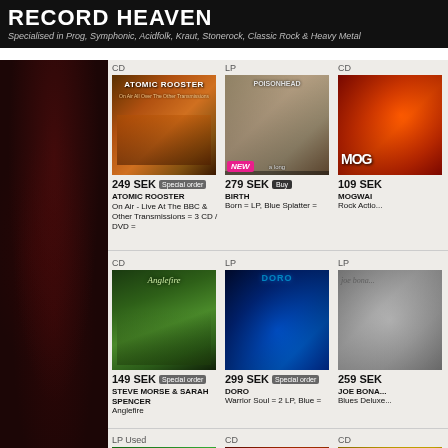RECORD HEAVEN
Specialised in Prog, Symphonic, Acidfolk, Kraut, Stonerock, Classic Rock & Heavy Metal
[Figure (photo): Atomic Rooster album cover - band photo with orange/brown tones]
CD
249 SEK  Special order
ATOMIC ROOSTER
On Air - Live At The BBC & Other Transmissions = 3 CD / DVD =
[Figure (photo): Birth album cover - Born = LP, Blue Splatter = with NEW badge]
LP
279 SEK  Buy
BIRTH
Born = LP, Blue Splatter =
[Figure (photo): Mogwai album cover - red/orange tones]
CD
109 SEK
MOGWAI
Rock Actio...
[Figure (photo): Steve Morse & Sarah Spencer - Anglefire album cover, two people with guitar on green background]
CD
149 SEK  Special order
STEVE MORSE & SARAH SPENCER
Anglefire
[Figure (photo): Doro album cover - Warrior Soul, blue tones with blonde woman]
LP
299 SEK  Special order
DORO
Warrior Soul = 2 LP, Blue =
[Figure (photo): Joe Bonamassa album cover - Blues Deluxe, grey tones]
LP
259 SEK
JOE BONA...
Blues Deluxe...
[Figure (photo): The Tubes LP Used album cover - green background with red hearts]
LP Used
TUBES
[Figure (photo): Burning album cover - fiery orange tones with NEW badge]
CD
NEW
[Figure (photo): Tales of... album cover - yellow tones]
CD